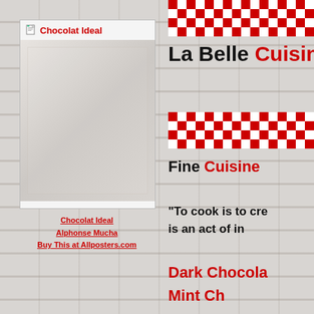[Figure (illustration): Chocolat Ideal poster image placeholder with red title text and small image icon]
Chocolat Ideal
Alphonse Mucha
Buy This at Allposters.com
La Belle Cuisine -
Fine Cuisine
"To cook is to cre... is an act of in...
Dark Chocola...
Mint Ch...